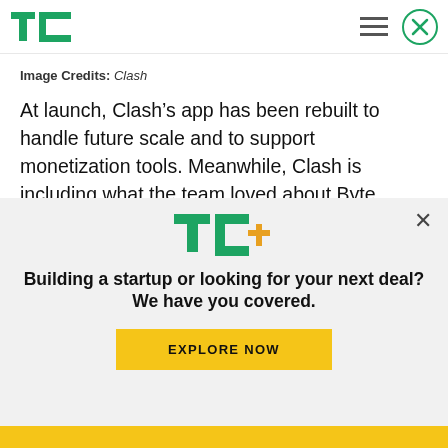TechCrunch header with TC logo, hamburger menu, and close button
Image Credits: Clash
At launch, Clash’s app has been rebuilt to handle future scale and to support monetization tools. Meanwhile, Clash is including what the team loved about Byte, including the way Byte’s Camera worked, the in-app feed and the app’s Discovery page. There are other similarities between Byte’s...
[Figure (logo): TC+ logo in green and yellow/orange]
Building a startup or looking for your next deal? We have you covered.
EXPLORE NOW